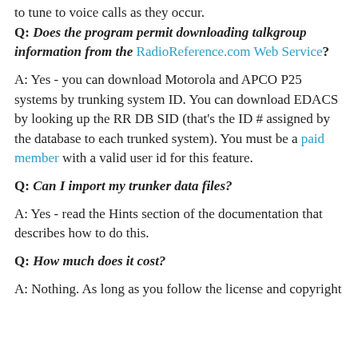to tune to voice calls as they occur.
Q: Does the program permit downloading talkgroup information from the RadioReference.com Web Service?
A: Yes - you can download Motorola and APCO P25 systems by trunking system ID. You can download EDACS by looking up the RR DB SID (that's the ID # assigned by the database to each trunked system). You must be a paid member with a valid user id for this feature.
Q: Can I import my trunker data files?
A: Yes - read the Hints section of the documentation that describes how to do this.
Q: How much does it cost?
A: Nothing. As long as you follow the license and copyright